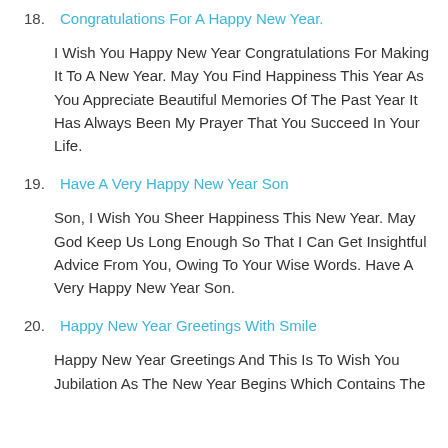18. Congratulations For A Happy New Year.
I Wish You Happy New Year Congratulations For Making It To A New Year. May You Find Happiness This Year As You Appreciate Beautiful Memories Of The Past Year It Has Always Been My Prayer That You Succeed In Your Life.
19. Have A Very Happy New Year Son
Son, I Wish You Sheer Happiness This New Year. May God Keep Us Long Enough So That I Can Get Insightful Advice From You, Owing To Your Wise Words. Have A Very Happy New Year Son.
20. Happy New Year Greetings With Smile
Happy New Year Greetings And This Is To Wish You Jubilation As The New Year Begins Which Contains The